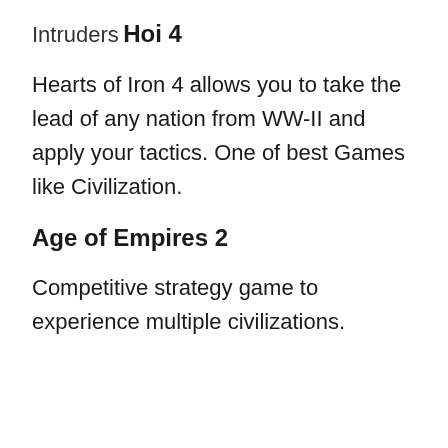Intruders
Hoi 4
Hearts of Iron 4 allows you to take the lead of any nation from WW-II and apply your tactics. One of best Games like Civilization.
Age of Empires 2
Competitive strategy game to experience multiple civilizations.